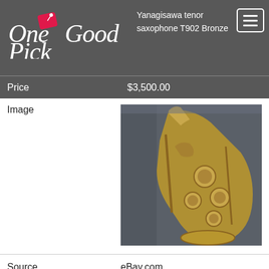One Good Pick — Yanagisawa tenor saxophone T902 Bronze — Price: $3,500.00
| Image | [photo of saxophone] |
| Source | eBay.com |
| Location | USA |
| Posted | 8/25/2022 |
[Figure (photo): Close-up photograph of a Yanagisawa tenor saxophone T902 Bronze, showing the body, keys, and pads of a gold-colored saxophone in a case]